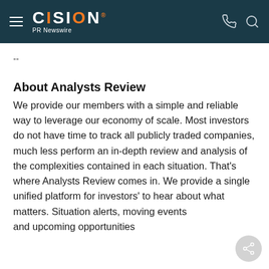CISION PR Newswire
--
About Analysts Review
We provide our members with a simple and reliable way to leverage our economy of scale. Most investors do not have time to track all publicly traded companies, much less perform an in-depth review and analysis of the complexities contained in each situation. That's where Analysts Review comes in. We provide a single unified platform for investors' to hear about what matters. Situation alerts, moving events and upcoming opportunities